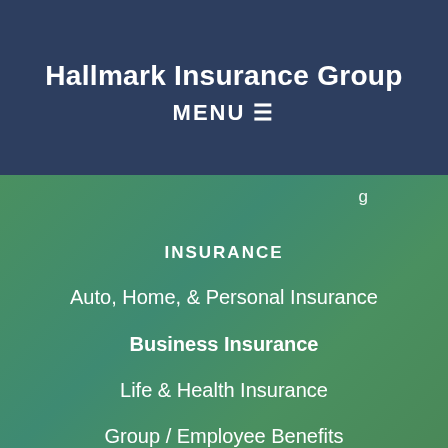Hallmark Insurance Group
MENU ☰
g
INSURANCE
Auto, Home, & Personal Insurance
Business Insurance
Life & Health Insurance
Group / Employee Benefits